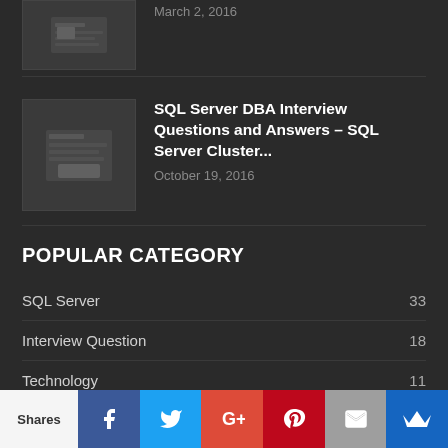[Figure (screenshot): Thumbnail image of a SQL Server article (partially visible at top)]
March 2, 2016
[Figure (screenshot): Thumbnail image of SQL Server DBA Interview Questions article]
SQL Server DBA Interview Questions and Answers – SQL Server Cluster...
October 19, 2016
POPULAR CATEGORY
SQL Server 33
Interview Question 18
Technology 11
SQL Terminologies 11
Cloud Computing 6
Backup\Restore 5
Shares | Facebook | Twitter | Google+ | Pinterest | Email | Crown